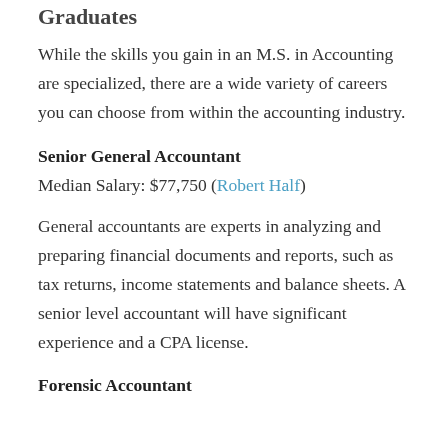Graduates
While the skills you gain in an M.S. in Accounting are specialized, there are a wide variety of careers you can choose from within the accounting industry.
Senior General Accountant
Median Salary: $77,750 (Robert Half)
General accountants are experts in analyzing and preparing financial documents and reports, such as tax returns, income statements and balance sheets. A senior level accountant will have significant experience and a CPA license.
Forensic Accountant